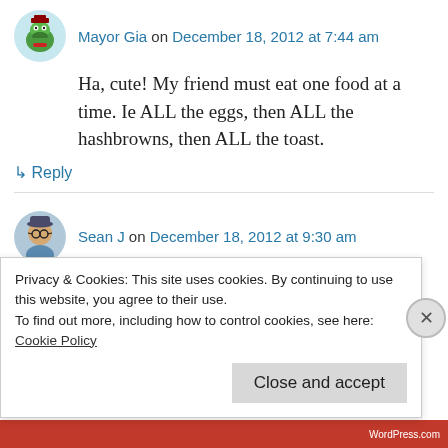Mayor Gia on December 18, 2012 at 7:44 am
Ha, cute! My friend must eat one food at a time. Ie ALL the eggs, then ALL the hashbrowns, then ALL the toast.
↳ Reply
Sean J on December 18, 2012 at 9:30 am
Don't have any weird food things of my own, so I especially enjoy reading about other
Privacy & Cookies: This site uses cookies. By continuing to use this website, you agree to their use.
To find out more, including how to control cookies, see here: Cookie Policy
Close and accept